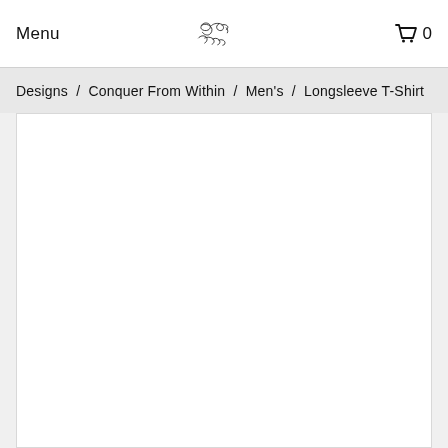Menu
[Figure (logo): Handwritten cursive signature logo reading 'Dominique Lau's' or similar]
0
Designs  /  Conquer From Within  /  Men's  /  Longsleeve T-Shirt
[Figure (photo): Product image area - white background, appears blank/loading]